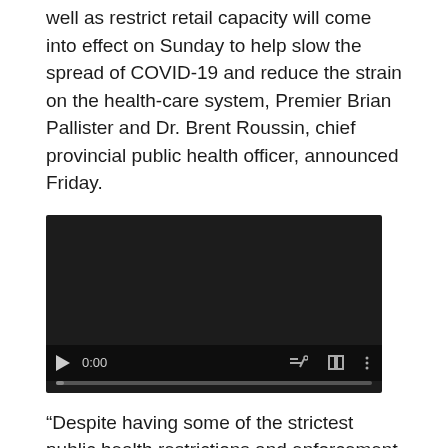well as restrict retail capacity will come into effect on Sunday to help slow the spread of COVID-19 and reduce the strain on the health-care system, Premier Brian Pallister and Dr. Brent Roussin, chief provincial public health officer, announced Friday.
[Figure (screenshot): Embedded video player with dark background showing controls: play button, time display 0:00, mute icon, fullscreen icon, more options icon, and a progress bar at the bottom.]
“Despite having some of the strictest public health restrictions and enforcement measures in the country, Manitoba’s COVID case numbers continue to rise, and this is concerning for all of us,” said Pallister. “All Manitobans must continue to do their part to protect themselves, their loved ones and their